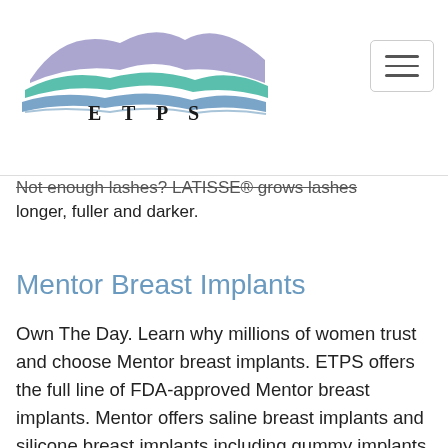[Figure (logo): East Tennessee Plastic Surgery (ETPS) logo with mountain/wave graphic in lavender, teal, and blue colors, with stylized text 'ETPS' and 'East Tennessee Plastic Surgery' below]
Not enough lashes? LATISSE® grows lashes longer, fuller and darker.
Mentor Breast Implants
Own The Day. Learn why millions of women trust and choose Mentor breast implants. ETPS offers the full line of FDA-approved Mentor breast implants. Mentor offers saline breast implants and silicone breast implants including gummy implants with varying levels of